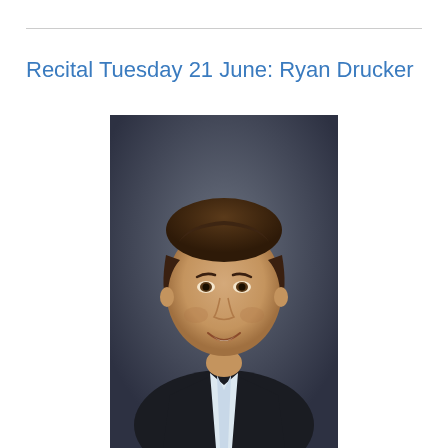Recital Tuesday 21 June: Ryan Drucker
[Figure (photo): Professional headshot of Ryan Drucker, a young man with short dark hair, smiling, wearing a dark suit jacket over a white shirt, photographed against a dark grey background.]